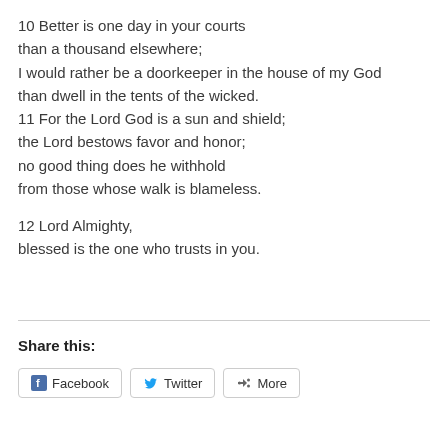10 Better is one day in your courts than a thousand elsewhere; I would rather be a doorkeeper in the house of my God than dwell in the tents of the wicked. 11 For the Lord God is a sun and shield; the Lord bestows favor and honor; no good thing does he withhold from those whose walk is blameless.

12 Lord Almighty, blessed is the one who trusts in you.
Share this:
Facebook   Twitter   More